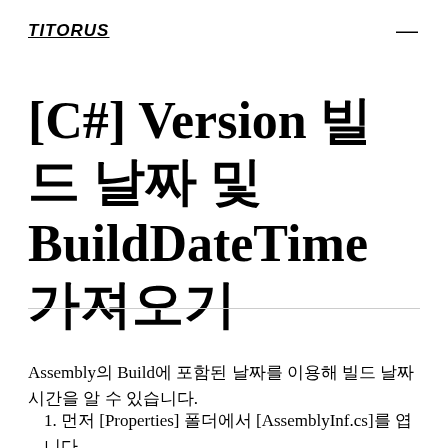TITORUS
[C#] Version 빌드 날짜 및 BuildDateTime 가져오기
Assembly의 Build에 포함된 날짜를 이용해 빌드 날짜시간을 알 수 있습니다.
1. 먼저 [Properties] 폴더에서 [AssemblyInf.cs]를 엽니다.